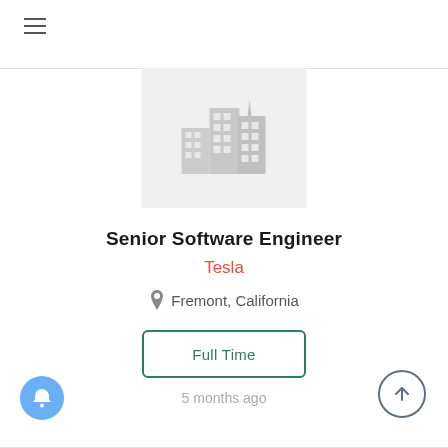[Figure (screenshot): Hamburger menu icon (three horizontal lines) in top left corner]
[Figure (illustration): Company logo placeholder: light gray rectangle with gray building/city skyline icon]
Senior Software Engineer
Tesla
Fremont, California
Full Time
5 months ago